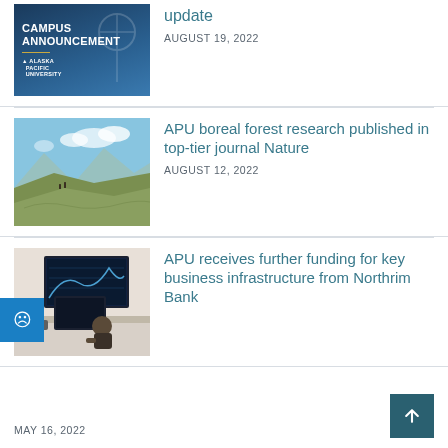[Figure (photo): Campus Announcement graphic with Alaska Pacific University logo on dark blue background]
update
AUGUST 19, 2022
[Figure (photo): Mountain boreal landscape with hikers on hillside under blue sky]
APU boreal forest research published in top-tier journal Nature
AUGUST 12, 2022
[Figure (photo): Person working at computer with monitors in office setting]
APU receives further funding for key business infrastructure from Northrim Bank
MAY 16, 2022